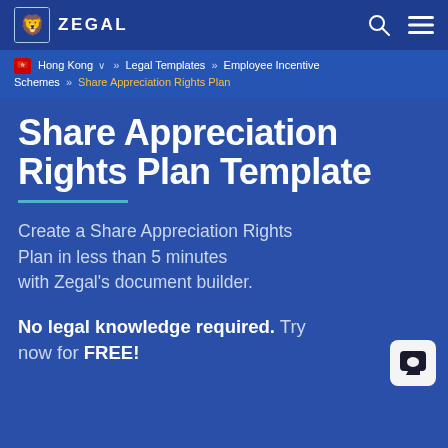ZEGAL
Hong Kong » Legal Templates » Employee Incentive Schemes » Share Appreciation Rights Plan
Share Appreciation Rights Plan Template
Create a Share Appreciation Rights Plan in less than 5 minutes with Zegal's document builder.
No legal knowledge required. Try now for FREE!